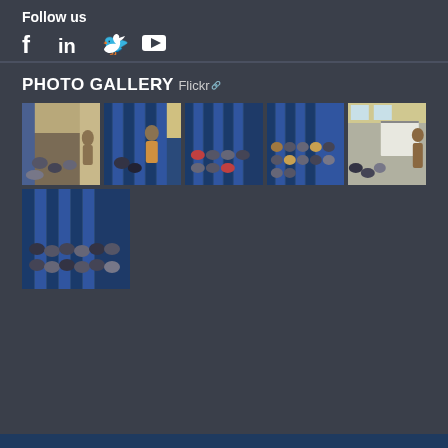Follow us
[Figure (other): Social media icons: Facebook, LinkedIn, Twitter, YouTube]
PHOTO GALLERY
Flickr
[Figure (photo): Photo gallery grid showing 6 conference/meeting room photos with people seated at tables and a presenter at a whiteboard, with blue curtained backdrop]